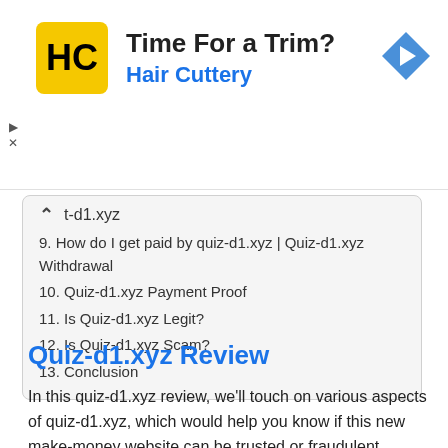[Figure (other): Advertisement banner for Hair Cuttery with logo, title 'Time For a Trim?', subtitle 'Hair Cuttery', and a navigation arrow icon. Play and X controls on the left side.]
9. How do I get paid by quiz-d1.xyz | Quiz-d1.xyz Withdrawal
10. Quiz-d1.xyz Payment Proof
11. Is Quiz-d1.xyz Legit?
12. Is Quiz-d1.xyz Scam?
13. Conclusion
Quiz-d1.xyz Review
In this quiz-d1.xyz review, we’ll touch on various aspects of quiz-d1.xyz, which would help you know if this new make-money website can be trusted or fraudulent.